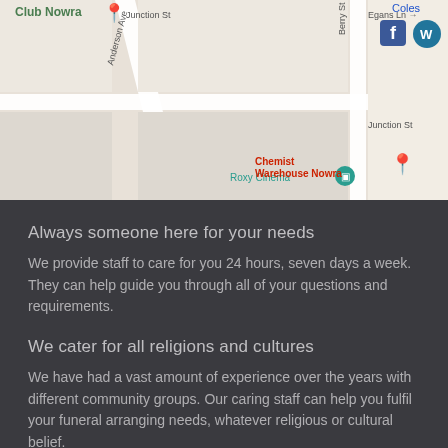[Figure (map): Google Maps screenshot showing Nowra area with Club Nowra marker, Junction St, Anderson Ave, Berry St, Egans Ln, Roxy Cinema, Chemist Warehouse Nowra, Coles, Facebook and WordPress icons visible]
Always someone here for your needs
We provide staff to care for you 24 hours, seven days a week. They can help guide you through all of your questions and requirements.
We cater for all religions and cultures
We have had a vast amount of experience over the years with different community groups. Our caring staff can help you fulfil your funeral arranging needs, whatever religious or cultural belief.